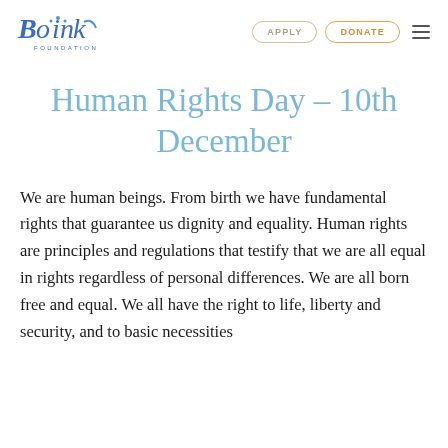Boink Foundation — APPLY | DONATE
Human Rights Day – 10th December
We are human beings. From birth we have fundamental rights that guarantee us dignity and equality. Human rights are principles and regulations that testify that we are all equal in rights regardless of personal differences. We are all born free and equal. We all have the right to life, liberty and security, and to basic necessities